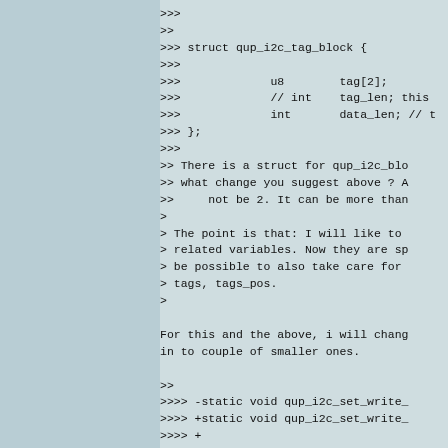>>>
>>
>>> struct qup_i2c_tag_block {
>>>
>>>             u8        tag[2];
>>>             // int    tag_len; this
>>>             int       data_len; // t
>>> };
>>>
>> There is a struct for qup_i2c_blo
>> what change you suggest above ? A
>>     not be 2. It can be more than
>
> The point is that: I will like to
> related variables. Now they are sp
> be possible to also take care for
> tags, tags_pos.
>

For this and the above, i will chang
in to couple of smaller ones.

>>
>>>> -static void qup_i2c_set_write_
>>>> +static void qup_i2c_set_write_
>>>> +
>>>
>>> And 'run' stands for?
>>     'run' just says whether the co
>>     I can change it to is_run_st